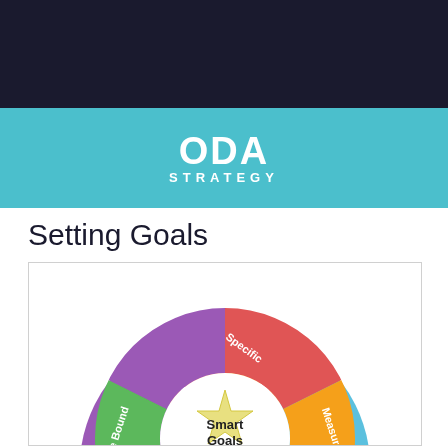[Figure (logo): ODA Strategy logo in white text on teal background]
Setting Goals
[Figure (donut-chart): SMART Goals donut/pie chart with 5 segments: Specific (red), Measurable (orange), Attainable (light blue), Relevant (green), Time Bound (purple). Center shows a star with 'Smart Goals' text.]